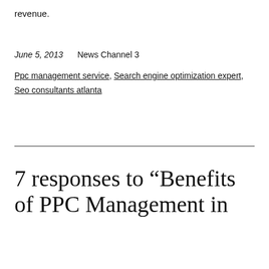revenue.
June 5, 2013    News Channel 3
Ppc management service, Search engine optimization expert, Seo consultants atlanta
7 responses to “Benefits of PPC Management in